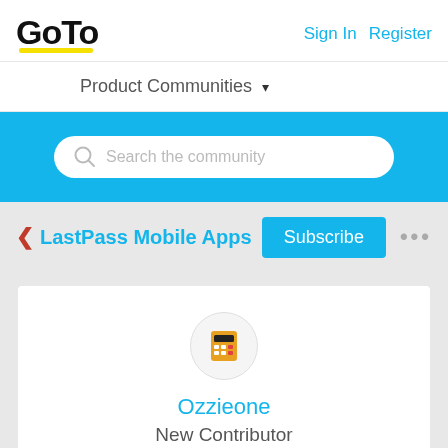[Figure (logo): GoTo logo with yellow underline]
Sign In   Register
Product Communities ▾
[Figure (screenshot): Search bar with placeholder text 'Search the community' on blue background]
< LastPass Mobile Apps
Subscribe
[Figure (illustration): Calculator emoji icon in circular avatar]
Ozzieone
New Contributor